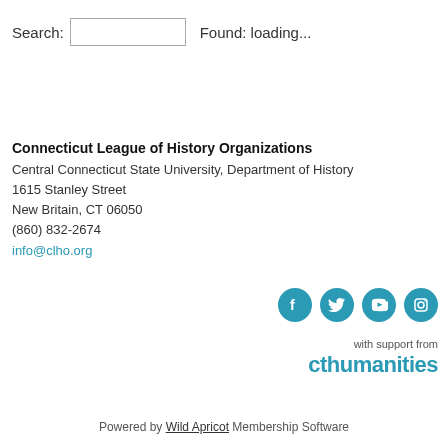Search:  Found: loading...
Connecticut League of History Organizations
Central Connecticut State University, Department of History
1615 Stanley Street
New Britain, CT 06050
(860) 832-2674
info@clho.org
[Figure (illustration): Four teal circular social media icons: Facebook, Twitter, YouTube, Instagram]
with support from
cthumanities
Powered by Wild Apricot Membership Software